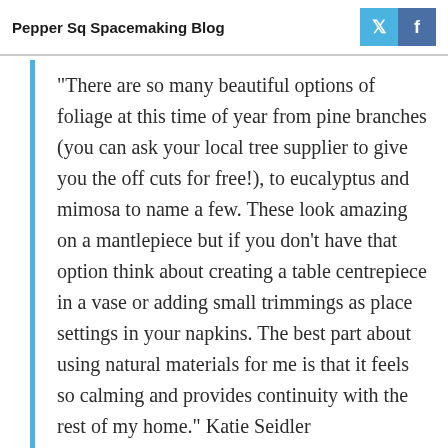Pepper Sq Spacemaking Blog
"There are so many beautiful options of foliage at this time of year from pine branches (you can ask your local tree supplier to give you the off cuts for free!), to eucalyptus and mimosa to name a few. These look amazing on a mantlepiece but if you don’t have that option think about creating a table centrepiece in a vase or adding small trimmings as place settings in your napkins. The best part about using natural materials for me is that it feels so calming and provides continuity with the rest of my home." Katie Seidler